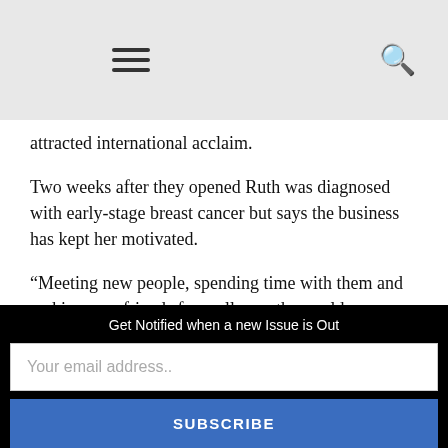Navigation bar with hamburger menu and search icon
attracted international acclaim.
Two weeks after they opened Ruth was diagnosed with early-stage breast cancer but says the business has kept her motivated.
“Meeting new people, spending time with them and making new friends from all over the world was a good way for me to maintain a cheery disposition,” she says.
Get Notified when a new Issue is Out
Your email address..
SUBSCRIBE